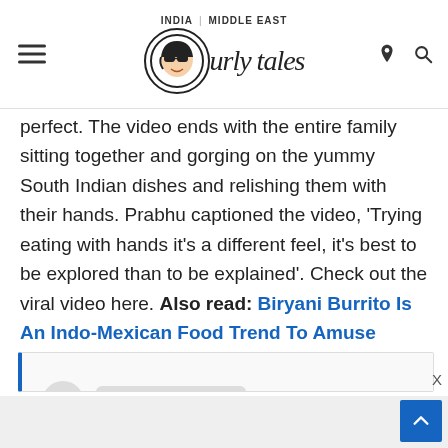INDIA | MIDDLE EAST — Curly Tales logo
perfect. The video ends with the entire family sitting together and gorging on the yummy South Indian dishes and relishing them with their hands. Prabhu captioned the video, 'Trying eating with hands it's a different feel, it's best to be explored than to be explained'. Check out the viral video here. Also read: Biryani Burrito Is An Indo-Mexican Food Trend To Amuse Netizens
[Figure (screenshot): Embedded social media post loading placeholder with blue left border, circular avatar placeholder and two grey loading bar lines]
Back to top button